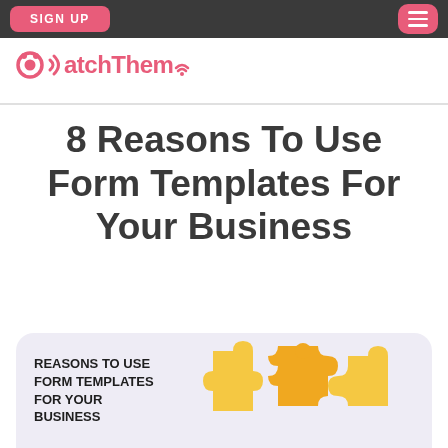SIGN UP  [menu icon]
[Figure (logo): WatchThem logo in pink/coral color with stylized eye icon]
8 Reasons To Use Form Templates For Your Business
[Figure (infographic): Infographic card with text 'REASONS TO USE FORM TEMPLATES FOR YOUR BUSINESS' and three yellow puzzle piece icons on a light purple background]